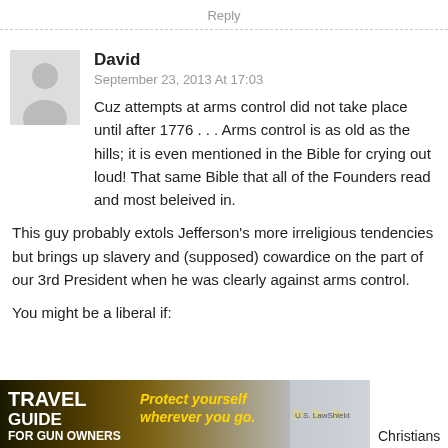Reply
David
September 23, 2013 At 17:03
Cuz attempts at arms control did not take place until after 1776 . . . Arms control is as old as the hills; it is even mentioned in the Bible for crying out loud! That same Bible that all of the Founders read and most beleived in.
This guy probably extols Jefferson's more irreligious tendencies but brings up slavery and (supposed) cowardice on the part of our 3rd President when he was clearly against arms control.
You might be a liberal if:
[Figure (screenshot): Advertisement banner: Travel Guide for Gun Owners - Protect yourself wherever you go. U.S. LawShield logo.]
Christians